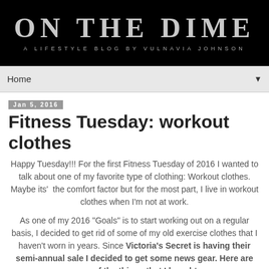ON THE DIME
A LIFESTYLE BLOG BY VULNAVIA JOHNSON
Home ▼
Jan 5, 2016
Fitness Tuesday: workout clothes
Happy Tuesday!!! For the first Fitness Tuesday of 2016 I wanted to talk about one of my favorite type of clothing: Workout clothes. Maybe its'  the comfort factor but for the most part, I live in workout clothes when I'm not at work.
As one of my 2016 "Goals" is to start working out on a regular basis, I decided to get rid of some of my old exercise clothes that I haven't worn in years. Since Victoria's Secret is having their semi-annual sale I decided to get some news gear. Here are some of the things that I bought: